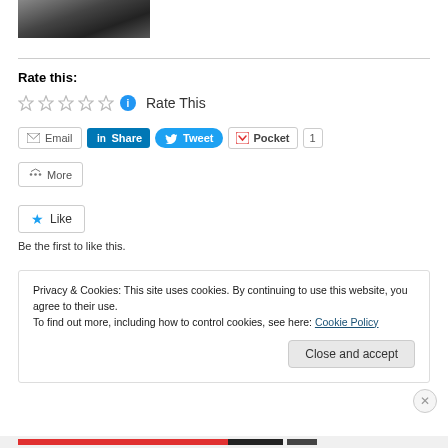[Figure (photo): Partial photo of a person at the top of the page]
Rate this:
☆ ☆ ☆ ☆ ☆  ℹ  Rate This
Email  Share  Tweet  Pocket  1  More
★ Like
Be the first to like this.
Privacy & Cookies: This site uses cookies. By continuing to use this website, you agree to their use.
To find out more, including how to control cookies, see here: Cookie Policy
Close and accept